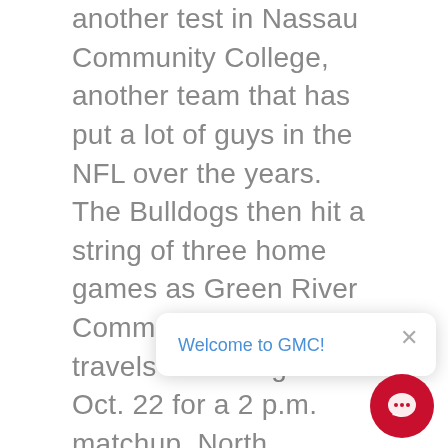another test in Nassau Community College, another team that has put a lot of guys in the NFL over the years. The Bulldogs then hit a string of three home games as Green River Community College travels to Milledgeville Oct. 22 for a 2 p.m. matchup. North Carolina Tech then comes to town Oct. 27 for a 6 p.m. time. Chattahoochee Tech ends the home slate Nov. 5 at 1 p.m. A Nov. 12 date with ranked Lackawanna College at 1 p.m. so the Bulldogs with one of the toughest schedules in the nation. If the team lives up to its potential on paper, then 2011 could turn out to be a magical season. Contact Sports Editor Brent Martin at (478) 453-1465
[Figure (screenshot): Chat popup overlay with 'Welcome to GMC!' text and a close X button, plus a red circular chat button in the bottom right corner.]